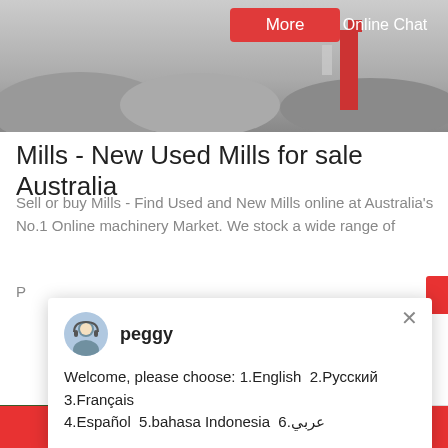[Figure (screenshot): Top banner with landscape/quarry image, More button and Online Chat button]
Mills - New Used Mills for sale Australia
Sell or buy Mills - Find Used and New Mills online at Australia's No.1 Online machinery Market. We stock a wide range of
P
[Figure (screenshot): Chat popup with peggy avatar and welcome message in multiple languages]
[Figure (photo): Mining machinery / mill equipment photo]
[Figure (photo): Customer service representative with headset, chat widget with Need questions & suggestion, Chat Now button]
Chat Online